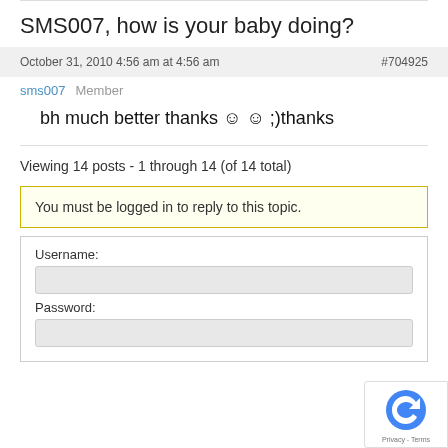SMS007, how is your baby doing?
October 31, 2010 4:56 am at 4:56 am   #704925
sms007   Member
bh much better thanks ☺ ☺ ;)thanks
Viewing 14 posts - 1 through 14 (of 14 total)
You must be logged in to reply to this topic.
Username:
Password: